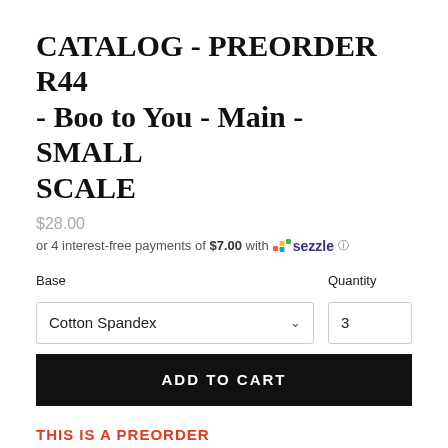CATALOG - PREORDER R44 - Boo to You - Main - SMALL SCALE
$28.00
or 4 interest-free payments of $7.00 with Sezzle
Base
Quantity
Cotton Spandex
3
ADD TO CART
THIS IS A PREORDER